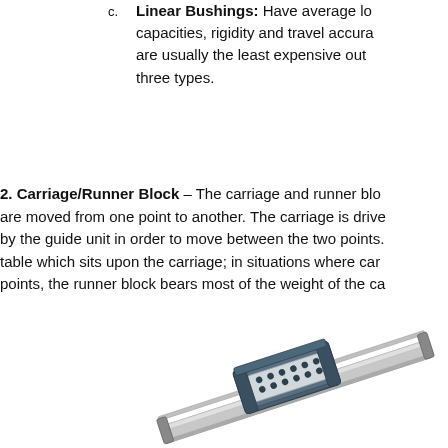c. Linear Bushings: Have average load capacities, rigidity and travel accuracy, are usually the least expensive out of the three types.
2. Carriage/Runner Block – The carriage and runner block are moved from one point to another. The carriage is driven by the guide unit in order to move between the two points. table which sits upon the carriage; in situations where cargo points, the runner block bears most of the weight of the ca...
[Figure (engineering-diagram): A technical illustration of a linear guide rail with a carriage/runner block, shown in perspective view. The rail is grey/silver and the runner block is dark teal/blue-grey with bolt holes visible.]